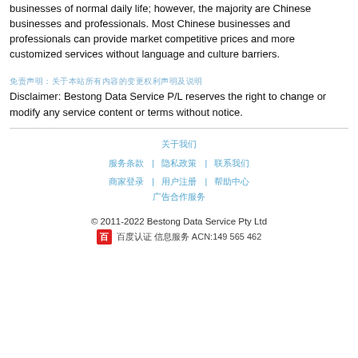businesses of normal daily life; however, the majority are Chinese businesses and professionals. Most Chinese businesses and professionals can provide market competitive prices and more customized services without language and culture barriers.
免责声明（中文字符占位）
Disclaimer: Bestong Data Service P/L reserves the right to change or modify any service content or terms without notice.
关于我们
服务条款 | 隐私政策 | 联系我们
商家登录 | 用户注册 | 帮助中心
广告合作服务
© 2011-2022 Bestong Data Service Pty Ltd
百 百度认证 信息服务 ACN:149 565 462